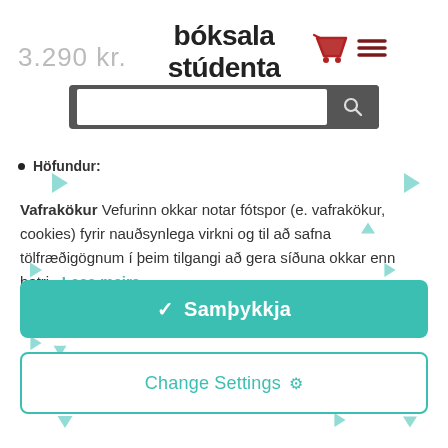3.290 kr.
[Figure (logo): Bóksala stúdenta logo in bold black text]
[Figure (screenshot): Shopping cart icon in red and hamburger menu icon in dark red]
[Figure (screenshot): Search bar with input field and search button on dark background]
Höfundur:
Vafrakökur Vefurinn okkar notar fótspor (e. vafrakökur, cookies) fyrir nauðsynlega virkni og til að safna tölfræðigögnum í þeim tilgangi að gera síðuna okkar enn betri. Lesa meira →
[Figure (screenshot): Green accept button with checkmark and text Samþykkja]
[Figure (screenshot): Change Settings button with gear icon, outlined in teal]